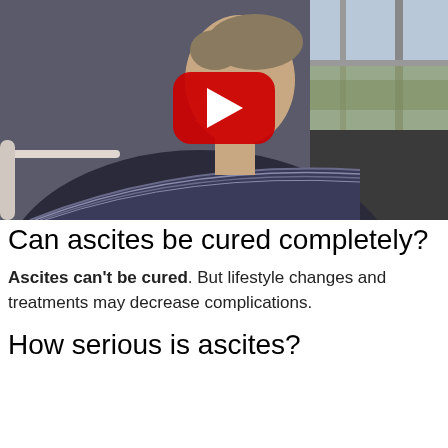[Figure (photo): A person sitting in a hospital or medical setting, shown in profile, wearing a striped shirt, with a YouTube play button overlay in the center of the image. Background shows a window with blurred outdoor scenery.]
Can ascites be cured completely?
Ascites can't be cured. But lifestyle changes and treatments may decrease complications.
How serious is ascites?